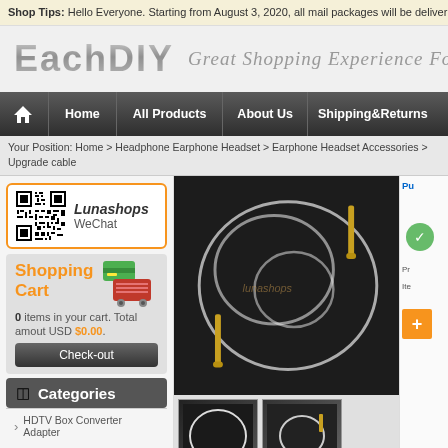Shop Tips: Hello Everyone. Starting from August 3, 2020, all mail packages will be delivered with a registration fee of $3 by default. If you want to use express service, but the amount is
[Figure (logo): EachDIY logo with tagline 'Great Shopping Experience Fo']
Home | All Products | About Us | Shipping&Returns
Your Position: Home > Headphone Earphone Headset > Earphone Headset Accessories > Upgrade cable
[Figure (other): Lunashops WeChat QR code in orange-bordered box]
Shopping Cart - 0 items in your cart. Total amout USD $0.00. Check-out
Categories
HDTV Box Converter Adapter
[Figure (photo): Product photo of a silver/white audio upgrade cable with gold 3.5mm jack connectors on dark background with lunashops watermark]
[Figure (photo): Two thumbnail product images at bottom]